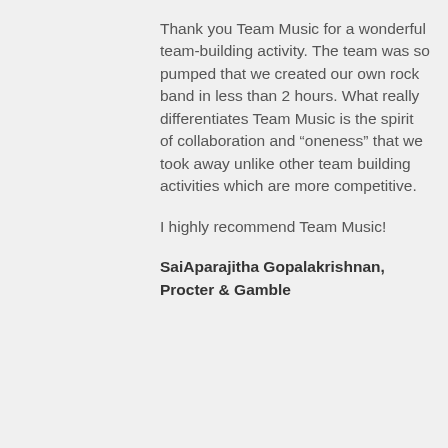Thank you Team Music for a wonderful team-building activity. The team was so pumped that we created our own rock band in less than 2 hours. What really differentiates Team Music is the spirit of collaboration and “oneness” that we took away unlike other team building activities which are more competitive.
I highly recommend Team Music!
SaiAparajitha Gopalakrishnan, Procter & Gamble